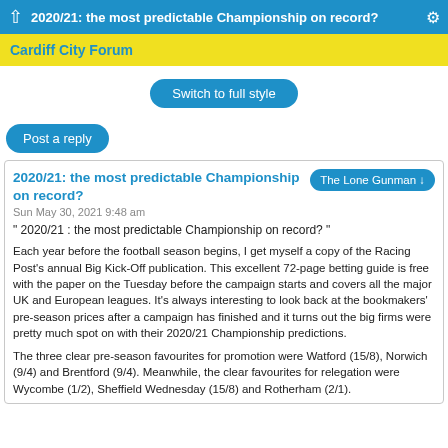2020/21: the most predictable Championship on record?
Cardiff City Forum
Switch to full style
Post a reply
2020/21: the most predictable Championship on record?
The Lone Gunman ↓
Sun May 30, 2021 9:48 am
" 2020/21 : the most predictable Championship on record? "
Each year before the football season begins, I get myself a copy of the Racing Post's annual Big Kick-Off publication. This excellent 72-page betting guide is free with the paper on the Tuesday before the campaign starts and covers all the major UK and European leagues. It's always interesting to look back at the bookmakers' pre-season prices after a campaign has finished and it turns out the big firms were pretty much spot on with their 2020/21 Championship predictions.
The three clear pre-season favourites for promotion were Watford (15/8), Norwich (9/4) and Brentford (9/4). Meanwhile, the clear favourites for relegation were Wycombe (1/2), Sheffield Wednesday (15/8) and Rotherham (2/1).